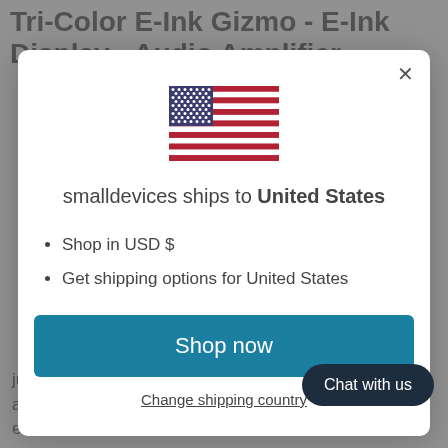Tri-Color E-Ink Gizmo - E-Ink Display - Audio Amplifier
[Figure (screenshot): Modal dialog overlay on a product page. Contains US flag, shipping message 'smalldevices ships to United States', list items 'Shop in USD $' and 'Get shipping options for United States', a 'Shop now' button, and a 'Change shipping country' link. A 'Chat with us' button appears at bottom right.]
just like a round E-Ink breakout but has permanently affixed M3 standoffs that act as mechanical and electrical